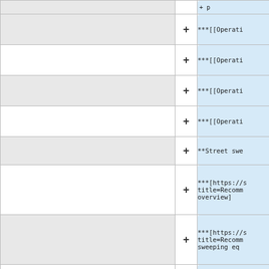|  | + | ***[[Operati... |
|  | + | ***[[Operati... |
|  | + | ***[[Operati... |
|  | + | ***[[Operati... |
|  | + | **Street swe... |
|  | + | ***[https://s... title=Recomm... overview] |
|  | + | ***[https://s... title=Recomm... sweeping eq... |
|  | + | ***[https://s... title=Recomm... street sweep... |
|  | + | ***[https://s... title=Recomm... |